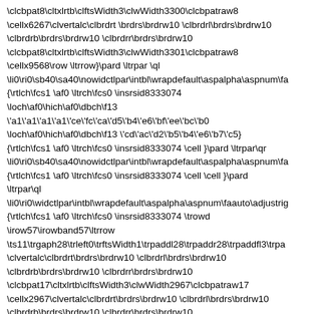\clcbpat8\cltxlrtb\clftsWidth3\clwWidth3300\clcbpatraw8 \cellx6267\clvertalc\clbrdrt \brdrs\brdrw10 \clbrdrl\brdrs\brdrw10 \clbrdrb\brdrs\brdrw10 \clbrdrr\brdrs\brdrw10 \clcbpat8\cltxlrtb\clftsWidth3\clwWidth3301\clcbpatraw8 \cellx9568\row \ltrrow}\pard \ltrpar \ql \li0\ri0\sb40\sa40\nowidctlpar\intbl\wrapdefault\aspalpha\aspnum\fa {\ rtlch\fcs1 \af0 \ltrch\fcs0 \insrsid8333074 \loch\af0\hich\af0\dbch\f13 \'a1\'a1\'a1\'a1\'ce\'fc\'ca\'d5\'b4\'e6\'bf\'ee\'bc\'b0 \loch\af0\hich\af0\dbch\f13 \'cd\'ac\'d2\'b5\'b4\'e6\'b7\'c5} {\rtlch\fcs1 \af0 \ltrch\fcs0 \insrsid8333074 \cell }\pard \ltrpar\qr \li0\ri0\sb40\sa40\nowidctlpar\intbl\wrapdefault\aspalpha\aspnum\fa {\rtlch\fcs1 \af0 \ltrch\fcs0 \insrsid8333074 \cell \cell }\pard \ltrpar\ql \li0\ri0\widctlpar\intbl\wrapdefault\aspalpha\aspnum\faauto\adjustrig {\rtlch\fcs1 \af0 \ltrch\fcs0 \insrsid8333074 \trowd \irow57\irowband57\ltrrow \ts11\trgaph28\trleft0\trftsWidth1\trpaddl28\trpaddr28\trpaddfl3\trpa \clvertalc\clbrdrt\brdrs\brdrw10 \clbrdrl\brdrs\brdrw10 \clbrdrb\brdrs\brdrw10 \clbrdrr\brdrs\brdrw10 \clcbpat17\cltxlrtb\clftsWidth3\clwWidth2967\clcbpatraw17 \cellx2967\clvertalc\clbrdrt\brdrs\brdrw10 \clbrdrl\brdrs\brdrw10 \clbrdrb\brdrs\brdrw10 \clbrdrr\brdrs\brdrw10 \clcbpat8\cltxlrtb\clftsWidth3\clwWidth3300\clcbpatraw8 \cellx6267\clvertalc\clbrdrt \brdrs\brdrw10 \clbrdrl\brdrs\brdrw10